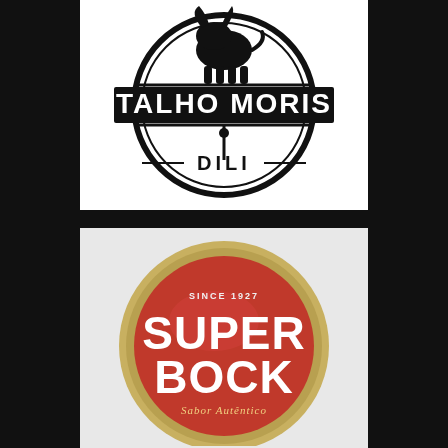[Figure (logo): Talho Moris Dili logo — circular black and white butcher shop emblem with a bull silhouette at top, banner reading TALHO MORIS, and DILI at the bottom, on white background]
[Figure (logo): Super Bock beer logo — circular red and gold badge reading SINCE 1927, SUPER BOCK in large white text, Sabor Autentico in italic gold text at bottom, on light grey background]